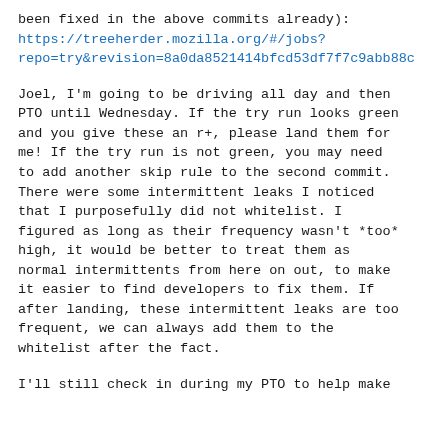been fixed in the above commits already):
https://treeherder.mozilla.org/#/jobs?repo=try&revision=8a0da8521414bfcd53df7f7c9abb88c
Joel, I'm going to be driving all day and then PTO until Wednesday. If the try run looks green and you give these an r+, please land them for me! If the try run is not green, you may need to add another skip rule to the second commit. There were some intermittent leaks I noticed that I purposefully did not whitelist. I figured as long as their frequency wasn't *too* high, it would be better to treat them as normal intermittents from here on out, to make it easier to find developers to fix them. If after landing, these intermittent leaks are too frequent, we can always add them to the whitelist after the fact.
I'll still check in during my PTO to help make